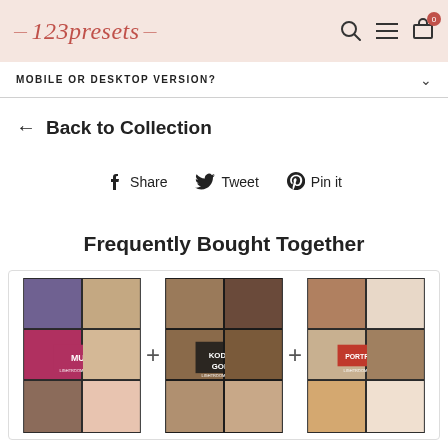123presets
MOBILE OR DESKTOP VERSION?
← Back to Collection
Share  Tweet  Pin it
Frequently Bought Together
[Figure (photo): Three product collage images for MUA, Kodak Gold, and Portraits presets with plus signs between them]
MUA + KODAK GOLD + PORTRAITS